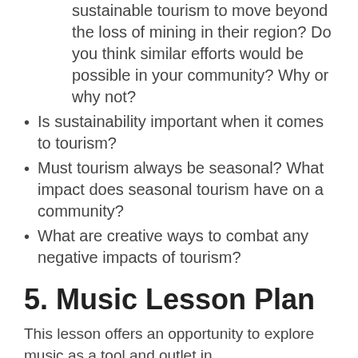sustainable tourism to move beyond the loss of mining in their region? Do you think similar efforts would be possible in your community? Why or why not?
Is sustainability important when it comes to tourism?
Must tourism always be seasonal? What impact does seasonal tourism have on a community?
What are creative ways to combat any negative impacts of tourism?
5. Music Lesson Plan
This lesson offers an opportunity to explore music as a tool and outlet in